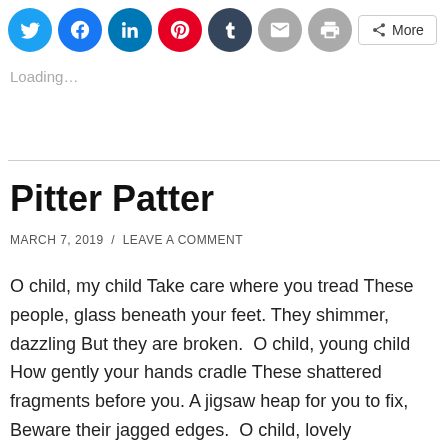[Figure (screenshot): Social share buttons: Twitter, Facebook, LinkedIn, Pinterest, Tumblr, Email, Print, and a More button]
Loading...
Pitter Patter
MARCH 7, 2019  /  LEAVE A COMMENT
O child, my child Take care where you tread These people, glass beneath your feet. They shimmer, dazzling But they are broken.  O child, young child How gently your hands cradle These shattered fragments before you. A jigsaw heap for you to fix, Beware their jagged edges.  O child, lovely